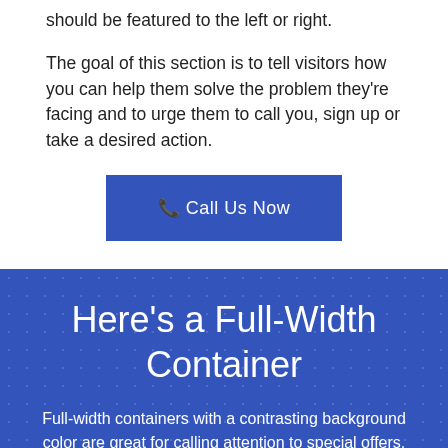should be featured to the left or right.
The goal of this section is to tell visitors how you can help them solve the problem they're facing and to urge them to call you, sign up or take a desired action.
[Figure (other): Blue call-to-action button with phone icon and text 'Call Us Now']
Here's a Full-Width Container
Full-width containers with a contrasting background color are great for calling attention to special offers, calls-to-